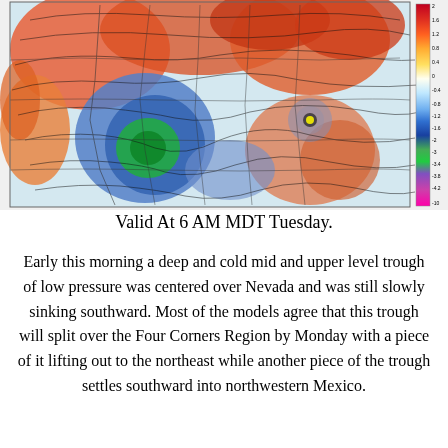[Figure (map): Weather map showing mid and upper level pressure patterns over North America. The map displays color-coded anomalies: warm reds and oranges over Canada and the Pacific Northwest, blues and greens indicating a deep cold trough centered over Nevada/southwestern US, and a circular low pressure system visible in the southeast. Contour lines overlay the map. A color scale bar on the right ranges from magenta (most negative, around -10) through blue, green, yellow, orange, to red (most positive, around 2).]
Valid At 6 AM MDT Tuesday.
Early this morning a deep and cold mid and upper level trough of low pressure was centered over Nevada and was still slowly sinking southward. Most of the models agree that this trough will split over the Four Corners Region by Monday with a piece of it lifting out to the northeast while another piece of the trough settles southward into northwestern Mexico.